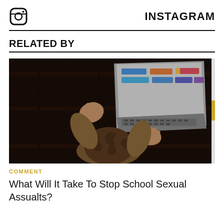INSTAGRAM
RELATED BY
[Figure (photo): Overhead view of a person with curly hair lying on a dark wooden floor, working on a laptop computer showing a colorful spreadsheet or presentation on screen, hands raised over the keyboard.]
COMMENT
What Will It Take To Stop School Sexual Assualts?